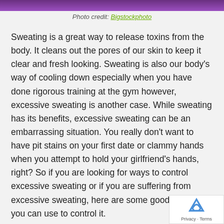[Figure (photo): Partial top edge of a photo showing purple/violet background]
Photo credit: Bigstockphoto
Sweating is a great way to release toxins from the body. It cleans out the pores of our skin to keep it clear and fresh looking. Sweating is also our body's way of cooling down especially when you have done rigorous training at the gym however, excessive sweating is another case. While sweating has its benefits, excessive sweating can be an embarrassing situation. You really don't want to have pit stains on your first date or clammy hands when you attempt to hold your girlfriend's hands, right? So if you are looking for ways to control excessive sweating or if you are suffering from excessive sweating, here are some good tips that you can use to control it.
1. Avoid Spicy Foods and Caffeine